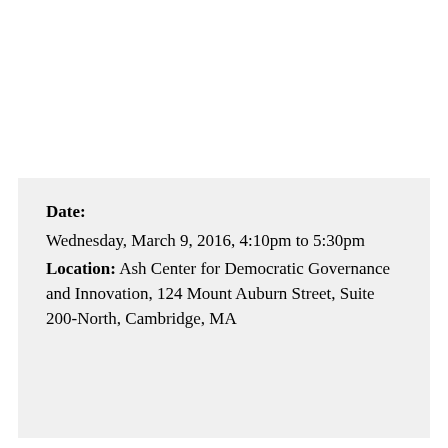Date: Wednesday, March 9, 2016, 4:10pm to 5:30pm Location: Ash Center for Democratic Governance and Innovation, 124 Mount Auburn Street, Suite 200-North, Cambridge, MA